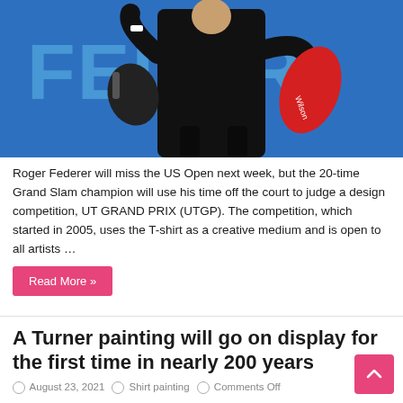[Figure (photo): Roger Federer in a black tracksuit carrying a black bag and a red Wilson racket bag, with a blue background showing 'FEDER' text]
Roger Federer will miss the US Open next week, but the 20-time Grand Slam champion will use his time off the court to judge a design competition, UT GRAND PRIX (UTGP). The competition, which started in 2005, uses the T-shirt as a creative medium and is open to all artists …
Read More »
A Turner painting will go on display for the first time in nearly 200 years
August 23, 2021   Shirt painting   Comments Off